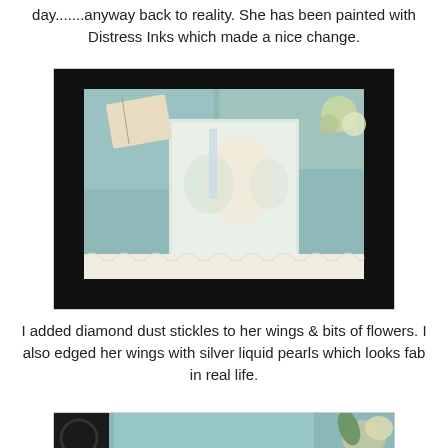day.......anyway back to reality. She has been painted with Distress Inks which made a nice change.
[Figure (photo): A crafted card featuring a fairy figure with butterfly wings, painted with Distress Inks, surrounded by decorative blue patterned paper, flowers, and lace edging. Watermark visible.]
I added diamond dust stickles to her wings & bits of flowers. I also edged her wings with silver liquid pearls which looks fab in real life.
[Figure (photo): Close-up detail of the crafted card showing the corner area with black decorative elements, blue dotted patterned paper, lace border, and cream/white flowers on the right side.]